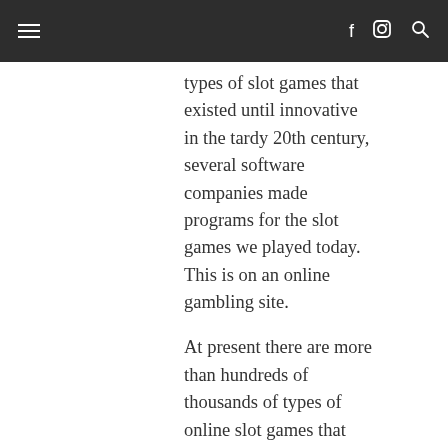≡  f  [instagram]  🔍
types of slot games that existed until innovative in the tardy 20th century, several software companies made programs for the slot games we played today. This is on an online gambling site.
At present there are more than hundreds of thousands of types of online slot games that exist throughout the world, made by thousands of gambling game software companies. However, there